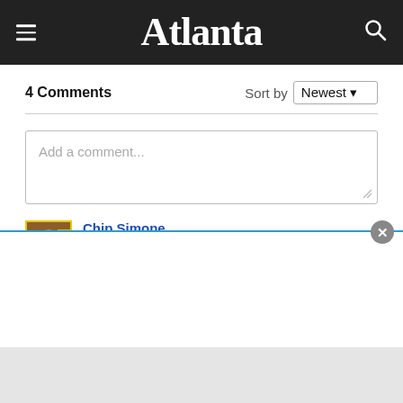Atlanta
4 Comments
Sort by Newest
Add a comment...
Chip Simone
Hooray for Michael. He's a wonderful asset, and a true friend of artists. We are very fortunate to have him in our community.